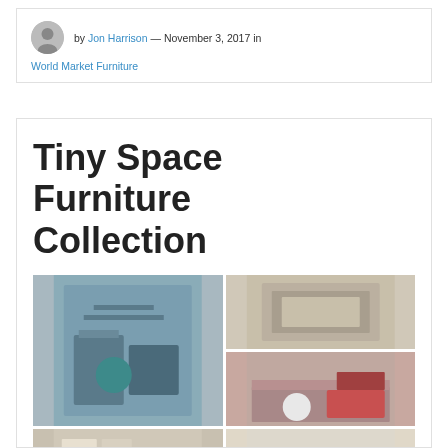by Jon Harrison — November 3, 2017 in
World Market Furniture
Tiny Space Furniture Collection
[Figure (photo): A collage of furniture photos showing small space furniture pieces including a bar cart/console table, a framed wall art piece, a bed with red pillows, shelving with books, and a white side table.]